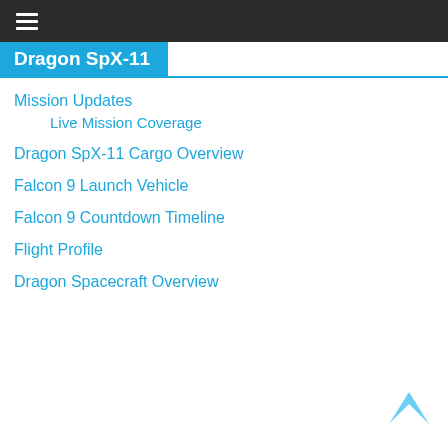≡ (hamburger menu icon)
Dragon SpX-11
Mission Updates
Live Mission Coverage
Dragon SpX-11 Cargo Overview
Falcon 9 Launch Vehicle
Falcon 9 Countdown Timeline
Flight Profile
Dragon Spacecraft Overview